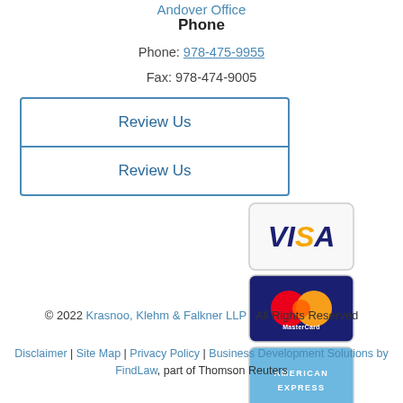Andover Office
Phone
Phone: 978-475-9955
Fax: 978-474-9005
Review Us
Review Us
[Figure (illustration): Payment method logos: Visa, MasterCard, American Express cards stacked vertically]
© 2022 Krasnoo, Klehm & Falkner LLP · All Rights Reserved
Disclaimer | Site Map | Privacy Policy | Business Development Solutions by FindLaw, part of Thomson Reuters